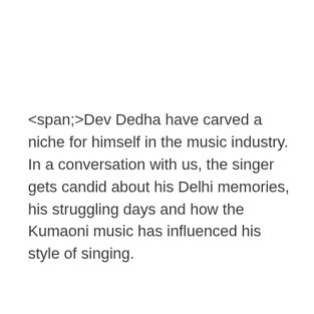<span;>Dev Dedha have carved a niche for himself in the music industry. In a conversation with us, the singer gets candid about his Delhi memories, his struggling days and how the Kumaoni music has influenced his style of singing.